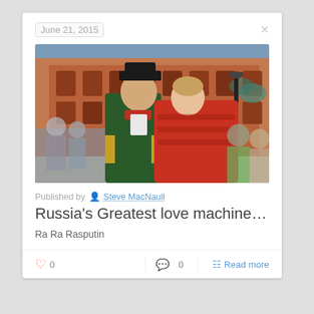June 21, 2015
[Figure (photo): Two people in historical Russian costumes (man in green military coat and tricorn hat, woman in red embroidered dress) posing in front of an ornate Russian church building (Church of the Savior on Spilled Blood, St. Petersburg)]
Published by Steve MacNaull
Russia's Greatest love machine…
Ra Ra Rasputin
0
0
Read more